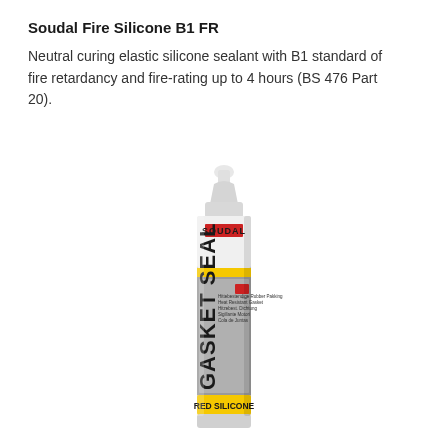Soudal Fire Silicone B1 FR
Neutral curing elastic silicone sealant with B1 standard of fire retardancy and fire-rating up to 4 hours (BS 476 Part 20).
[Figure (photo): Soudal Gasket Seal Red Silicone tube/cartridge product photo. Grey and white tube with yellow stripe, SOUDAL branding with red rectangle logo, 'GASKET SEAL' text prominently displayed, 'RED SILICONE' label at bottom on yellow background.]